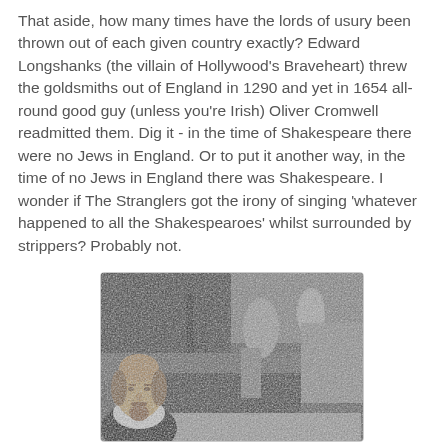That aside, how many times have the lords of usury been thrown out of each given country exactly? Edward Longshanks (the villain of Hollywood's Braveheart) threw the goldsmiths out of England in 1290 and yet in 1654 all-round good guy (unless you're Irish) Oliver Cromwell readmitted them. Dig it - in the time of Shakespeare there were no Jews in England. Or to put it another way, in the time of no Jews in England there was Shakespeare. I wonder if The Stranglers got the irony of singing 'whatever happened to all the Shakespearoes' whilst surrounded by strippers? Probably not.
[Figure (photo): Black and white composite photo showing what appears to be a concert or nightclub scene with figures, overlaid with a portrait of Shakespeare in the lower left corner.]